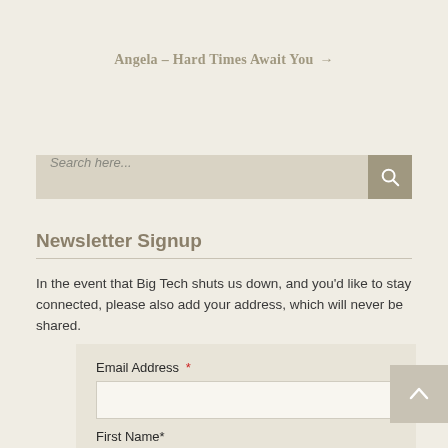Angela – Hard Times Await You →
[Figure (other): Search bar with text input placeholder 'Search here...' and a tan/brown search button with magnifying glass icon]
Newsletter Signup
In the event that Big Tech shuts us down, and you'd like to stay connected, please also add your address, which will never be shared.
Email Address *
First Name*